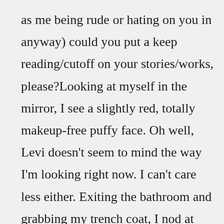as me being rude or hating on you in anyway) could you put a keep reading/cutoff on your stories/works, please?Looking at myself in the mirror, I see a slightly red, totally makeup-free puffy face. Oh well, Levi doesn't seem to mind the way I'm looking right now. I can't care less either. Exiting the bathroom and grabbing my trench coat, I nod at Levi to let him know I'm ready to go and we head